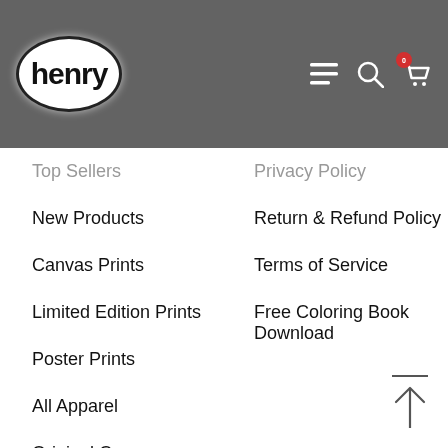[Figure (logo): Henry brand logo — white oval with black border containing the word 'henry' in bold black font]
Top Sellers
Privacy Policy
New Products
Return & Refund Policy
Canvas Prints
Terms of Service
Limited Edition Prints
Free Coloring Book Download
Poster Prints
All Apparel
Original Canvases
Enamel Pins
Note Cards
Radical Abundance Cards
Magnets
Stickers